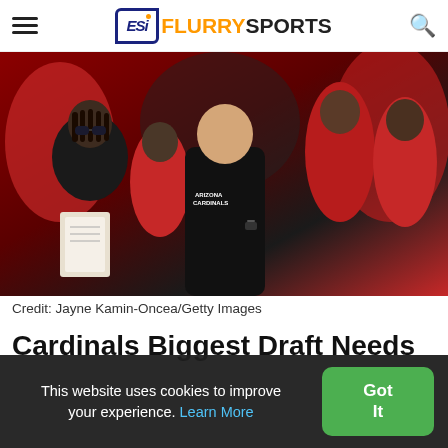Flurry Sports
[Figure (photo): Arizona Cardinals coaches and staff on the sideline during a game. A man in a black Arizona Cardinals long-sleeve shirt stands in the foreground, surrounded by people in red Cardinals gear.]
Credit: Jayne Kamin-Oncea/Getty Images
Cardinals Biggest Draft Needs
This website uses cookies to improve your experience. Learn More